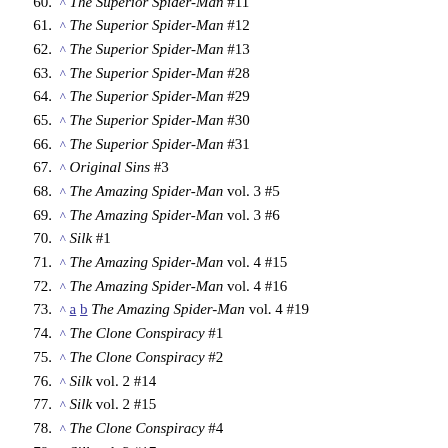60. ^ The Superior Spider-Man #11
61. ^ The Superior Spider-Man #12
62. ^ The Superior Spider-Man #13
63. ^ The Superior Spider-Man #28
64. ^ The Superior Spider-Man #29
65. ^ The Superior Spider-Man #30
66. ^ The Superior Spider-Man #31
67. ^ Original Sins #3
68. ^ The Amazing Spider-Man vol. 3 #5
69. ^ The Amazing Spider-Man vol. 3 #6
70. ^ Silk #1
71. ^ The Amazing Spider-Man vol. 4 #15
72. ^ The Amazing Spider-Man vol. 4 #16
73. ^ a b The Amazing Spider-Man vol. 4 #19
74. ^ The Clone Conspiracy #1
75. ^ The Clone Conspiracy #2
76. ^ Silk vol. 2 #14
77. ^ Silk vol. 2 #15
78. ^ The Clone Conspiracy #4
79. ^ Silk vol. 2 #17
80. ^ The Clone Conspiracy #5
81. ^ Silk vol. 2 #18
82. ^ Secret Empire: Brave New World #3
83. ^ The Amazing Spider-Man #797
84. ^ The Amazing Spider-Man #800